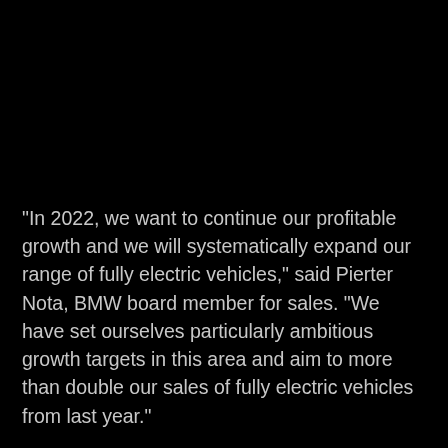“In 2022, we want to continue our profitable growth and we will systematically expand our range of fully electric vehicles,” said Pierter Nota, BMW board member for sales. “We have set ourselves particularly ambitious growth targets in this area and aim to more than double our sales of fully electric vehicles from last year.”